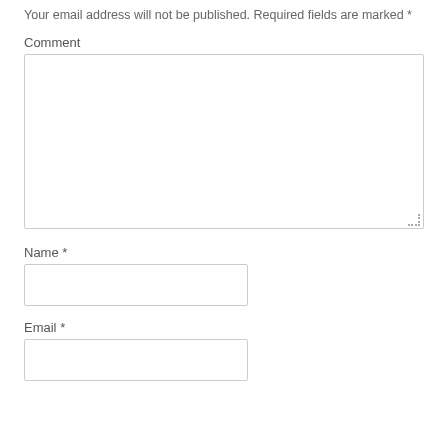Your email address will not be published. Required fields are marked *
Comment
Name *
Email *